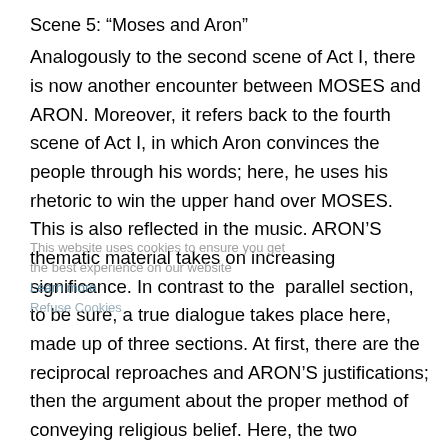Scene 5: “Moses and Aron”
Analogously to the second scene of Act I, there is now another encounter between MOSES and ARON. Moreover, it refers back to the fourth scene of Act I, in which Aron convinces the people through his words; here, he uses his rhetoric to win the upper hand over MOSES. This is also reflected in the music. ARON’S thematic material takes on increasing significance. In contrast to the  parallel section, to be sure, a true dialogue takes place here, made up of three sections. At first, there are the reciprocal reproaches and ARON’S justifications; then the argument about the proper method of conveying religious belief. Here, the two opinions are in direct opposition: “I love this people” (ARON) – “I love my ideas” (MOSES). ARON’S confidence